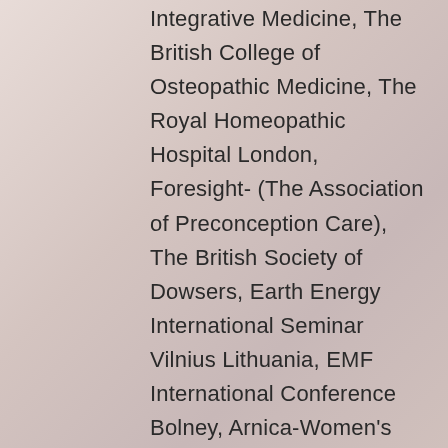Integrative Medicine, The British College of Osteopathic Medicine, The Royal Homeopathic Hospital London, Foresight- (The Association of Preconception Care), The British Society of Dowsers, Earth Energy International Seminar Vilnius Lithuania, EMF International Conference Bolney, Arnica-Women's Health Conference Kingston. I have also been elected as a member of Earth Energy Science Committee for The Baltic Dowser's Association Lithuania.